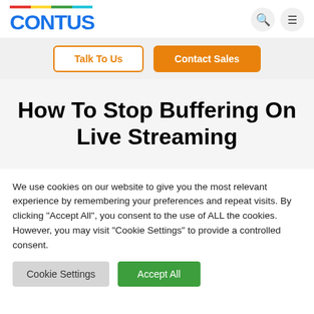CONTUS
[Figure (logo): CONTUS logo with multicolor bar (red, yellow, green, teal) above the blue CONTUS text]
Talk To Us   Contact Sales
How To Stop Buffering On Live Streaming
We use cookies on our website to give you the most relevant experience by remembering your preferences and repeat visits. By clicking "Accept All", you consent to the use of ALL the cookies. However, you may visit "Cookie Settings" to provide a controlled consent.
Cookie Settings   Accept All